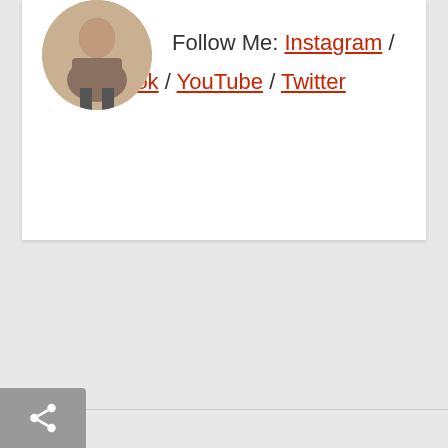[Figure (photo): Circular profile photo showing a person standing on what appears to be a sandy or earthy surface, partially visible at the top of the card]
Follow Me: Instagram / Facebook / YouTube / Twitter